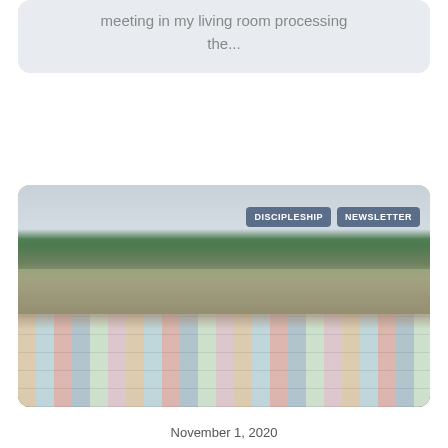meeting in my living room processing the...
[Figure (photo): Three young women wearing face masks lying/sitting on a colorful patchwork quilt in a grassy outdoor area. Tags: DISCIPLESHIP, NEWSLETTER.]
November 1, 2020